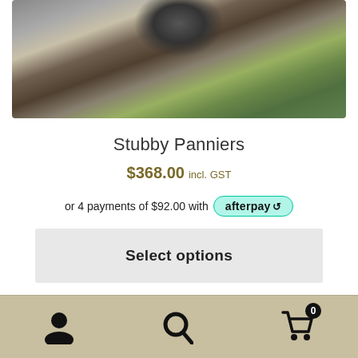[Figure (photo): Partial photo of a motorcycle wheel and tire resting on grass, top portion of product image]
Stubby Panniers
$368.00 incl. GST
or 4 payments of $92.00 with afterpay
Select options
[Figure (photo): Photo of motorcycle panniers (saddlebags) viewed from below with blue sky and trees in background]
Navigation bar with account icon, search icon, and cart icon showing 0 items